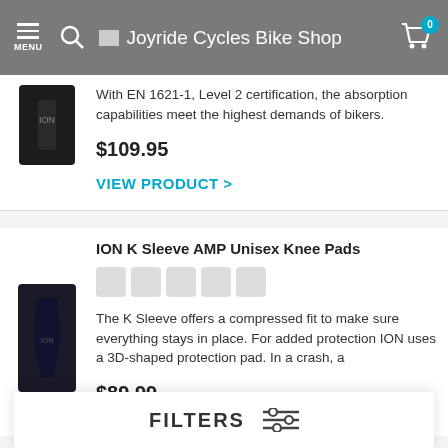MENU | Joyride Cycles Bike Shop | 0
With EN 1621-1, Level 2 certification, the absorption capabilities meet the highest demands of bikers.
$109.95
VIEW PRODUCT >
ION K Sleeve AMP Unisex Knee Pads
The K Sleeve offers a compressed fit to make sure everything stays in place. For added protection ION uses a 3D-shaped protection pad. In a crash, a
$89.99
V
FILTERS